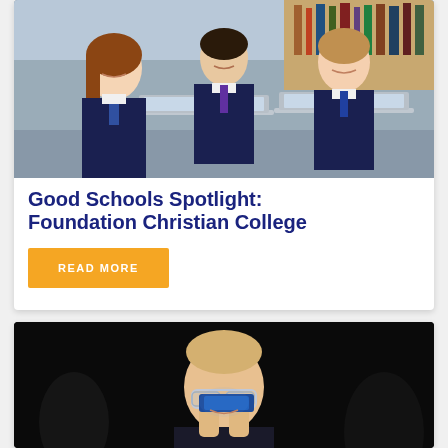[Figure (photo): Three students in dark school uniforms with ties, sitting at laptops, smiling, in what appears to be a library setting]
Good Schools Spotlight: Foundation Christian College
READ MORE
[Figure (photo): A student in a dark room holding up a small blue object, wearing safety glasses, in what appears to be a science experiment setting]